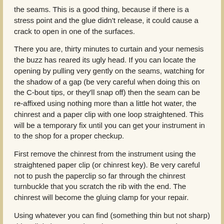the seams. This is a good thing, because if there is a stress point and the glue didn't release, it could cause a crack to open in one of the surfaces.
There you are, thirty minutes to curtain and your nemesis the buzz has reared its ugly head. If you can locate the opening by pulling very gently on the seams, watching for the shadow of a gap (be very careful when doing this on the C-bout tips, or they'll snap off) then the seam can be re-affixed using nothing more than a little hot water, the chinrest and a paper clip with one loop straightened. This will be a temporary fix until you can get your instrument in to the shop for a proper checkup.
First remove the chinrest from the instrument using the straightened paper clip (or chinrest key). Be very careful not to push the paperclip so far through the chinrest turnbuckle that you scratch the rib with the end. The chinrest will become the gluing clamp for your repair.
Using whatever you can find (something thin but not sharp) drip a little hot water in to the open seam. Move the seam a little to help work the water in to the space, and then quickly attach the chinrest to the instrument being careful not to over tighten the turnbuckles. It won't take much pressure. A good sign is if a little water is pushed back out as it is tightened. If needed wipe the edge with a cotton cloth. Leave